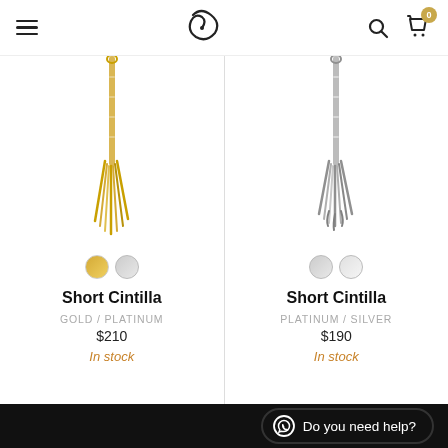Navigation bar with hamburger menu, spiral logo, search icon, and cart (0 items)
[Figure (photo): Gold/yellow tassel or necklace chain jewelry product on white background]
Short Cintilla
GOLD / PLATINUM
$210
In stock
[Figure (photo): Silver/platinum tassel or necklace chain jewelry product on white background]
Short Cintilla
PLATINUM / SILVER
$190
In stock
Do you need help?